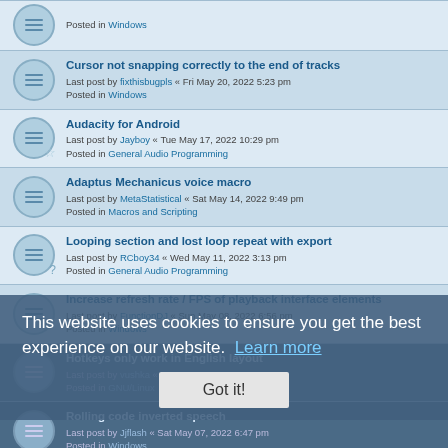Posted in Windows
Cursor not snapping correctly to the end of tracks
Last post by fixthisbugpls « Fri May 20, 2022 5:23 pm
Posted in Windows
Audacity for Android
Last post by Jayboy « Tue May 17, 2022 10:29 pm
Posted in General Audio Programming
Adaptus Mechanicus voice macro
Last post by MetaStatistical « Sat May 14, 2022 9:49 pm
Posted in Macros and Scripting
Looping section and lost loop repeat with export
Last post by RCboy34 « Wed May 11, 2022 3:13 pm
Posted in General Audio Programming
Increase refresh rate / FPS of playback interface elements
Last post by FunctionDJ « Sun May 08, 2022 6:56 pm
Posted in Windows
Hotkeys only work in English layout
Last post by vushka « Sat May 07, 2022 7:36 pm
Posted in GNU/Linux
Rolling code inverted speech
Last post by Jjflash « Sat May 07, 2022 6:47 pm
Posted in Windows
Audio Sounds Fine on Audacity but When I Export it then It Sounds Glitchy
Last post by ekles « Wed May 04, 2022 5:28 am
Posted in Windows
This website uses cookies to ensure you get the best experience on our website. Learn more
Got it!